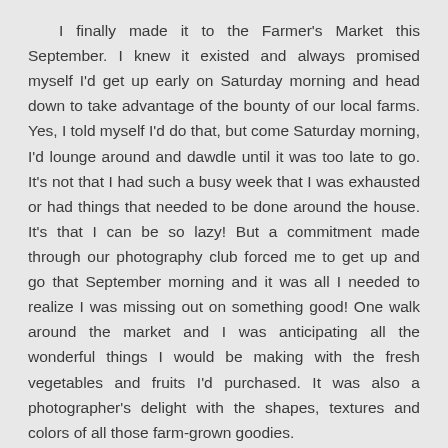I finally made it to the Farmer's Market this September. I knew it existed and always promised myself I'd get up early on Saturday morning and head down to take advantage of the bounty of our local farms. Yes, I told myself I'd do that, but come Saturday morning, I'd lounge around and dawdle until it was too late to go. It's not that I had such a busy week that I was exhausted or had things that needed to be done around the house. It's that I can be so lazy! But a commitment made through our photography club forced me to get up and go that September morning and it was all I needed to realize I was missing out on something good! One walk around the market and I was anticipating all the wonderful things I would be making with the fresh vegetables and fruits I'd purchased. It was also a photographer's delight with the shapes, textures and colors of all those farm-grown goodies.
Our market also moves indoors in November as some of the farms produce products such as bread, milk, free-range meat and...